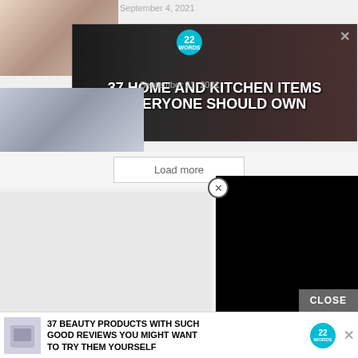September 4, 2021
[Figure (screenshot): Thumbnail image of people near kitchen items]
September 21, 2021
[Figure (screenshot): Thumbnail image of person with mask and medical setting]
[Figure (photo): Advertisement banner: 37 HOME AND KITCHEN ITEMS EVERYONE SHOULD OWN with Mueller branding and 22 Words badge. Close X button top right.]
Load more
[Figure (screenshot): Black video overlay panel]
CLOSE
[Figure (screenshot): Bottom advertisement: 37 BEAUTY PRODUCTS WITH SUCH GOOD REVIEWS YOU MIGHT WANT TO TRY THEM YOURSELF with 22 Words badge]